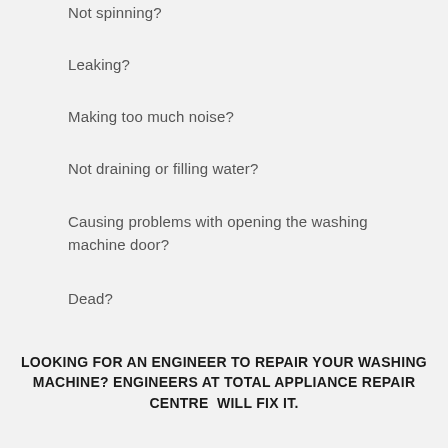Not spinning?
Leaking?
Making too much noise?
Not draining or filling water?
Causing problems with opening the washing machine door?
Dead?
LOOKING FOR AN ENGINEER TO REPAIR YOUR WASHING MACHINE? ENGINEERS AT TOTAL APPLIANCE REPAIR CENTRE  WILL FIX IT.